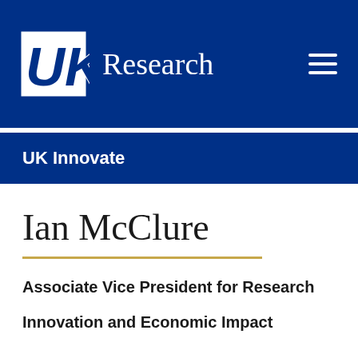[Figure (logo): University of Kentucky UK logo with Research text and hamburger menu on dark blue navigation bar]
UK Innovate
Ian McClure
Associate Vice President for Research
Innovation and Economic Impact